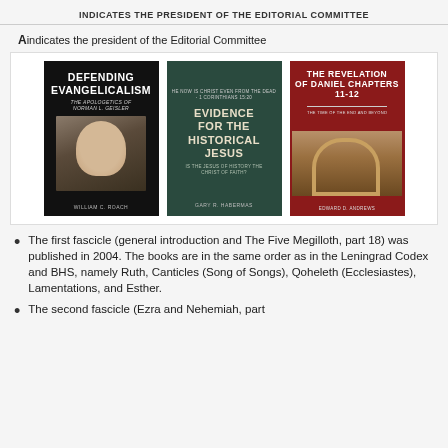indicates the president of the Editorial Committee
A indicates the president of the Editorial Committee
[Figure (photo): Three book covers: 'Defending Evangelicalism: The Apologetics of Norman L. Geisler' by William C. Roach; 'Evidence for the Historical Jesus' by Gary R. Habermas; 'The Revelation of Daniel Chapters 11-12: The Time of the End and Beyond' by Edward D. Andrews]
The first fascicle (general introduction and The Five Megilloth, part 18) was published in 2004. The books are in the same order as in the Leningrad Codex and BHS, namely Ruth, Canticles (Song of Songs), Qoheleth (Ecclesiastes), Lamentations, and Esther.
The second fascicle (Ezra and Nehemiah, part